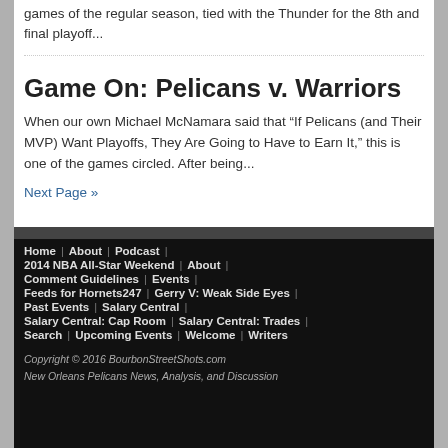games of the regular season, tied with the Thunder for the 8th and final playoff...
Game On: Pelicans v. Warriors
When our own Michael McNamara said that “If Pelicans (and Their MVP) Want Playoffs, They Are Going to Have to Earn It,” this is one of the games circled. After being...
Next Page »
Home | About | Podcast | 2014 NBA All-Star Weekend | About | Comment Guidelines | Events | Feeds for Hornets247 | Gerry V: Weak Side Eyes | Past Events | Salary Central | Salary Central: Cap Room | Salary Central: Trades | Search | Upcoming Events | Welcome | Writers
Copyright © 2016 BourbonStreetShots.com New Orleans Pelicans News, Analysis, and Discussion